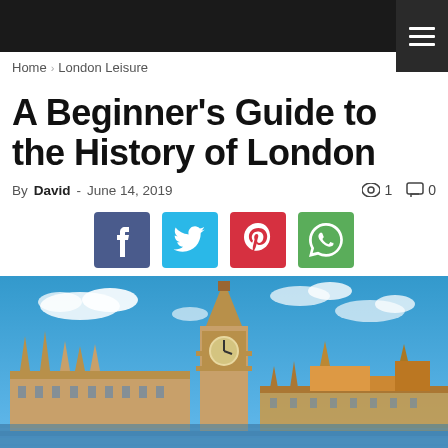Home › London Leisure
A Beginner's Guide to the History of London
By David - June 14, 2019  👁 1  💬 0
[Figure (infographic): Social sharing buttons: Facebook (f), Twitter (bird), Pinterest (p), WhatsApp (phone)]
[Figure (photo): Photo of Big Ben and the Houses of Parliament in London under a bright blue sky]